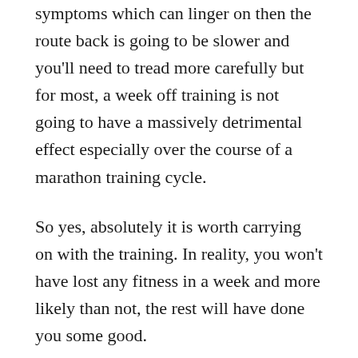symptoms which can linger on then the route back is going to be slower and you'll need to tread more carefully but for most, a week off training is not going to have a massively detrimental effect especially over the course of a marathon training cycle.
So yes, absolutely it is worth carrying on with the training. In reality, you won't have lost any fitness in a week and more likely than not, the rest will have done you some good.
My advice is simply not to go full throttle in the first session back and use the first week to ease back in. Don't try to make up for the miles or sessions missed and you may need to adjust the next couple of weeks slightly just to reduce the load a little.